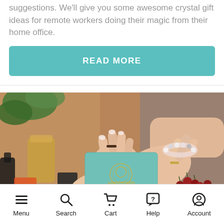suggestions. We'll give you some awesome crystal gift ideas for remote workers doing their magic from their home office.
READ MORE
[Figure (photo): Two hands with rings and a beaded bracelet handling a teal/mint colored gift box with gold logo, surrounded by red berries, candles, and plants on a table.]
Menu  Search  Cart  Help  Account